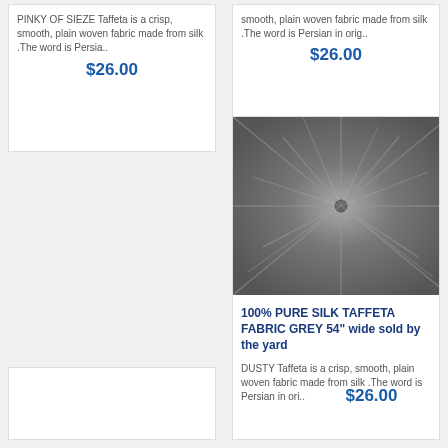PINKY OF SIEZE Taffeta is a crisp, smooth, plain woven fabric made from silk .The word is Persian in orig..
$26.00
smooth, plain woven fabric made from silk .The word is Persian in orig..
$26.00
[Figure (photo): Grey silk taffeta fabric bunched/gathered showing sheen and texture, grayscale photo]
100% PURE SILK TAFFETA FABRIC GREY 54" wide sold by the yard
DUSTY Taffeta is a crisp, smooth, plain woven fabric made from silk .The word is Persian in ori..
$26.00